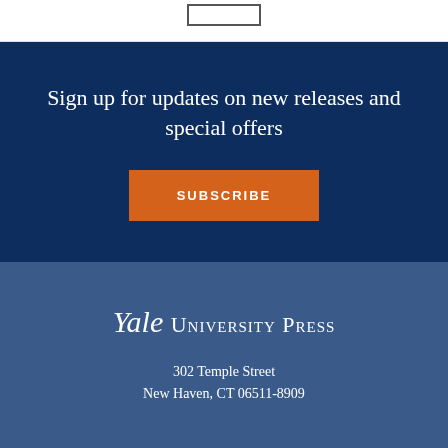Sign up for updates on new releases and special offers
SUBSCRIBE
Yale University Press
302 Temple Street
New Haven, CT 06511-8909